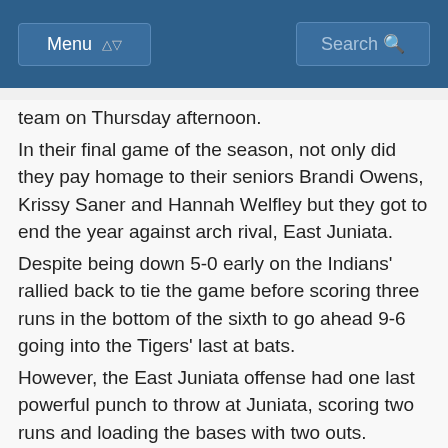Menu | Search
team on Thursday afternoon.
In their final game of the season, not only did they pay homage to their seniors Brandi Owens, Krissy Saner and Hannah Welfley but they got to end the year against arch rival, East Juniata.
Despite being down 5-0 early on the Indians' rallied back to tie the game before scoring three runs in the bottom of the sixth to go ahead 9-6 going into the Tigers' last at bats.
However, the East Juniata offense had one last powerful punch to throw at Juniata, scoring two runs and loading the bases with two outs.
A grounder later and the Indians pulled out the nail biting 9-8 victory.
Abby Adair got the win for the home team Indians as she went the distance scattering seven hits and striking out seven in the rain-hampered contest.